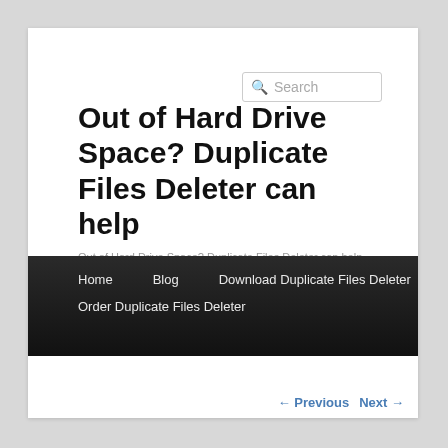Search
Out of Hard Drive Space? Duplicate Files Deleter can help
Out of Hard Drive Space? Duplicate Files Deleter can help
Home   Blog   Download Duplicate Files Deleter   Order Duplicate Files Deleter
← Previous   Next →